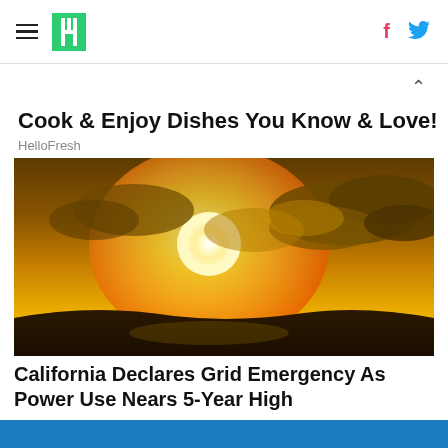HuffPost navigation with logo, hamburger menu, facebook and twitter icons
Cook & Enjoy Dishes You Know & Love!
HelloFresh
[Figure (photo): Bright golden sunset with sun shining through dramatic clouds over a landscape silhouette]
California Declares Grid Emergency As Power Use Nears 5-Year High
HuffPost